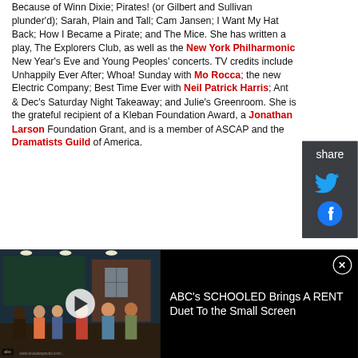Because of Winn Dixie; Pirates! (or Gilbert and Sullivan plunder'd); Sarah, Plain and Tall; Cam Jansen; I Want My Hat Back; How I Became a Pirate; and The Mice. She has written a play, The Explorers Club, as well as the New York Philharmonic New Year's Eve and Young Peoples' concerts. TV credits include Unhappily Ever After; Whoa! Sunday with Mo Rocca; the new Electric Company; Best Time Ever with Neil Patrick Harris; Ant & Dec's Saturday Night Takeaway; and Julie's Greenroom. She is the grateful recipient of a Kleban Foundation Award, a Jonathan Larson Foundation Grant, and is a member of ASCAP and the Dramatists Guild of America.
[Figure (screenshot): Video thumbnail showing a classroom scene with students and teacher from ABC's SCHOOLED TV show, with a play button overlay. Beside it is a black panel with text: ABC's SCHOOLED Brings A RENT Duet To the Small Screen, and a close button.]